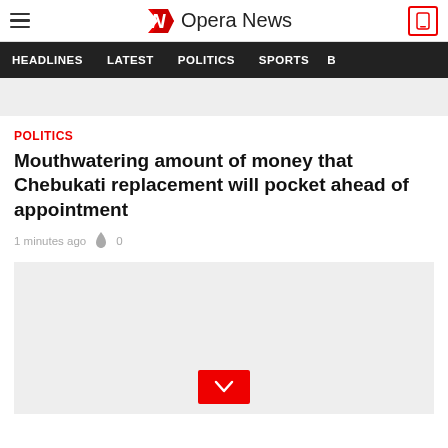Opera News
HEADLINES  LATEST  POLITICS  SPORTS
[Figure (other): Gray placeholder image at top of article]
POLITICS
Mouthwatering amount of money that Chebukati replacement will pocket ahead of appointment
1 minutes ago  0
[Figure (other): Gray placeholder image with red chevron/download button at bottom center]